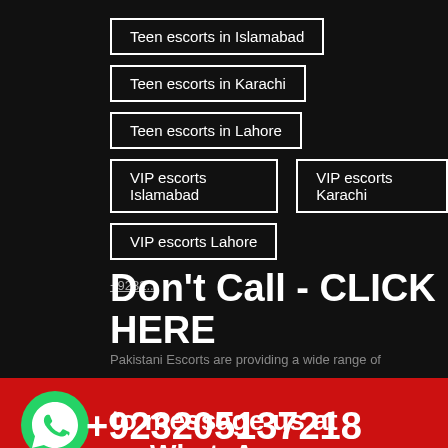Teen escorts in Islamabad
Teen escorts in Karachi
Teen escorts in Lahore
VIP escorts Islamabad
VIP escorts Karachi
VIP escorts Lahore
+9232...
Don't Call - CLICK HERE
Pakistani Escorts are providing a wide range of
to message us at
WhatsApp:
of the girls have experience and have worked as
models in the show business.
+923205137218